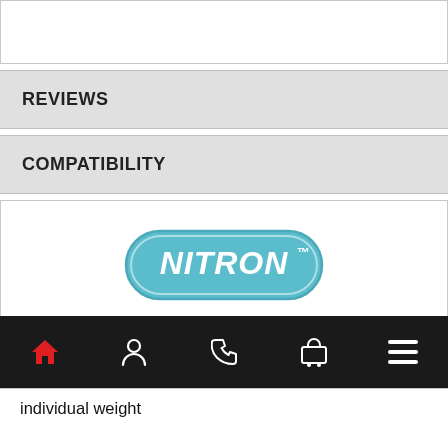REVIEWS
COMPATIBILITY
[Figure (logo): Nitron™ brand logo — teal/blue pill-shaped badge with white italic text reading NITRON and a superscript TM symbol]
TW Suspension Tech are premier dealers and service centre for Nitron and we supply the full range of Nitron Suspension products. Nitron has enjoyed over two decades of success, including prestigious race victories, class wins and lap records all over the globe. Engineered, designed and manufactured in the United Kingdom, Nitron's international headquarters are located right in the heart of England's well known 'Motorsport Valley', in Oxfordshire...
individual weight